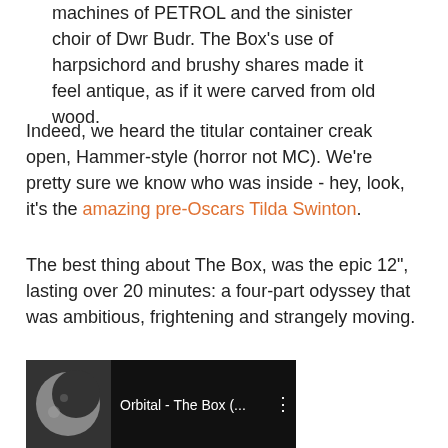machines of PETROL and the sinister choir of Dwr Budr. The Box's use of harpsichord and brushy shares made it feel antique, as if it were carved from old wood.
Indeed, we heard the titular container creak open, Hammer-style (horror not MC). We're pretty sure we know who was inside - hey, look, it's the amazing pre-Oscars Tilda Swinton.
The best thing about The Box, was the epic 12", lasting over 20 minutes: a four-part odyssey that was ambitious, frightening and strangely moving.
What is the box? Who opened it? And why do I keep thinking of coffins?
Have a listen to the full, er, Box set below. Even better, track down the vinyl. With two decades of hindsight, and that creaking noise haunting me ever since, I wonder if this release was Orbital's finest early-period moment.
[Figure (screenshot): Video thumbnail showing Orbital - The Box with a moon image on the left and title text on dark background]